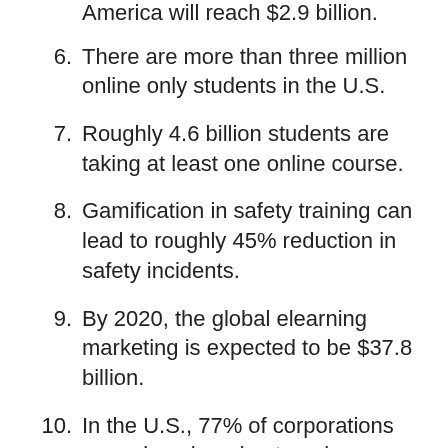America will reach $2.9 billion.
6. There are more than three million online only students in the U.S.
7. Roughly 4.6 billion students are taking at least one online course.
8. Gamification in safety training can lead to roughly 45% reduction in safety incidents.
9. By 2020, the global elearning marketing is expected to be $37.8 billion.
10. In the U.S., 77% of corporations are using elearning to enhance employee training programs.
11. The elearning market has grown by